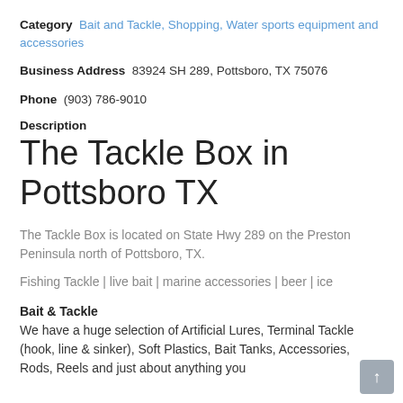Category  Bait and Tackle, Shopping, Water sports equipment and accessories
Business Address  83924 SH 289, Pottsboro, TX 75076
Phone  (903) 786-9010
Description
The Tackle Box in Pottsboro TX
The Tackle Box is located on State Hwy 289 on the Preston Peninsula north of Pottsboro, TX.
Fishing Tackle | live bait | marine accessories | beer | ice
Bait & Tackle
We have a huge selection of Artificial Lures, Terminal Tackle (hook, line & sinker), Soft Plastics, Bait Tanks, Accessories, Rods, Reels and just about anything you